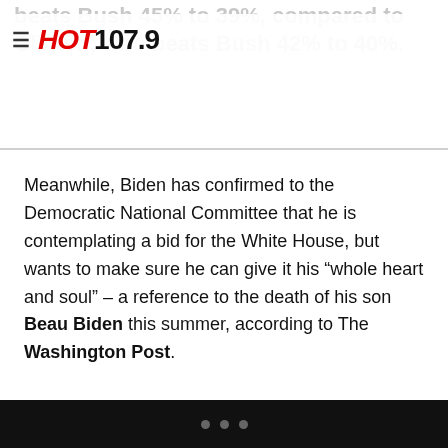HOT 107.9
beats Bush 45% to 39%, compared to Clinton, who beats Bush 42% to 40%.
Meanwhile, Biden has confirmed to the Democratic National Committee that he is contemplating a bid for the White House, but wants to make sure he can give it his “whole heart and soul” – a reference to the death of his son Beau Biden this summer, according to The Washington Post.
...